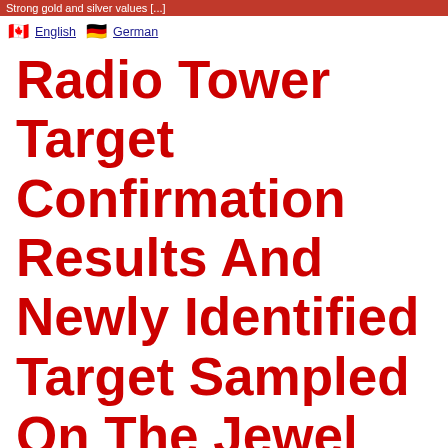Strong gold and silver values [...]
🇨🇦 English  🇩🇪 German
Radio Tower Target Confirmation Results And Newly Identified Target Sampled On The Jewel Ridge Property, Nevada